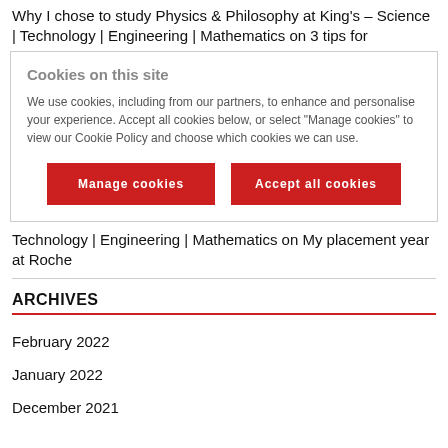Why I chose to study Physics & Philosophy at King's – Science | Technology | Engineering | Mathematics on 3 tips for
Cookies on this site

We use cookies, including from our partners, to enhance and personalise your experience. Accept all cookies below, or select "Manage cookies" to view our Cookie Policy and choose which cookies we can use.
Technology | Engineering | Mathematics on My placement year at Roche
ARCHIVES
February 2022
January 2022
December 2021